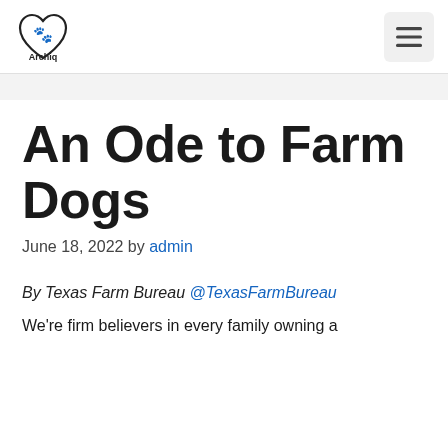Archiq Pets
An Ode to Farm Dogs
June 18, 2022 by admin
By Texas Farm Bureau @TexasFarmBureau
We're firm believers in every family owning a